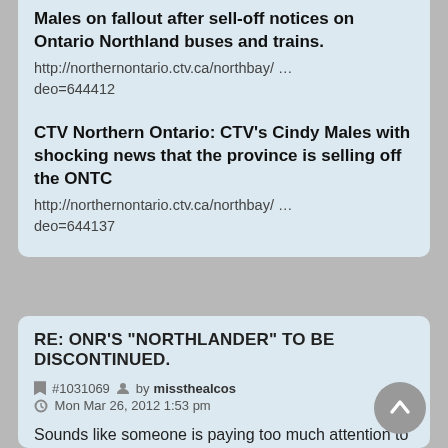Males on fallout after sell-off notices on Ontario Northland buses and trains.
http://northernontario.ctv.ca/northbay/ … deo=644412
CTV Northern Ontario: CTV's Cindy Males with shocking news that the province is selling off the ONTC
http://northernontario.ctv.ca/northbay/ … deo=644137
RE: ONR'S "NORTHLANDER" TO BE DISCONTINUED.
#1031069 by missthealcos Mon Mar 26, 2012 1:53 pm
Sounds like someone is paying too much attention to what was done to BC rail..without caring too much about facts. Here, they spun it that the BCR was beyond hope(a blatant lie), and we lost a huge